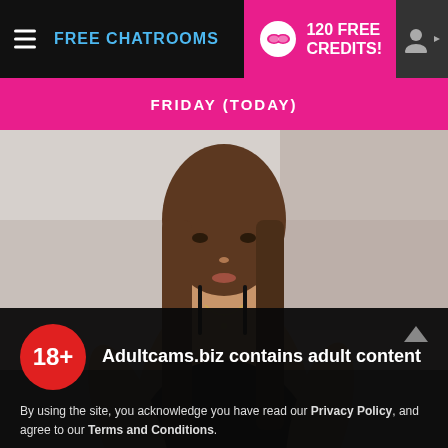FREE CHATROOMS  |  120 FREE CREDITS!
FRIDAY (TODAY)
[Figure (photo): Young woman with long brown hair wearing a black lace top, posed against a light wall background]
Adultcams.biz contains adult content
By using the site, you acknowledge you have read our Privacy Policy, and agree to our Terms and Conditions.
We use cookies to optimize your experience, analyze traffic, and deliver more personalized service. To learn more, please see our Privacy Policy.
I AGREE